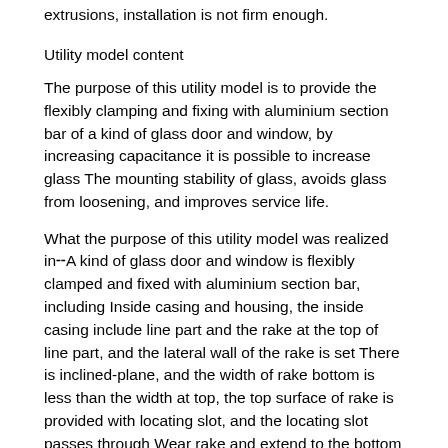extrusions, installation is not firm enough.
Utility model content
The purpose of this utility model is to provide the flexibly clamping and fixing with aluminium section bar of a kind of glass door and window, by increasing capacitance it is possible to increase glass The mounting stability of glass, avoids glass from loosening, and improves service life.
What the purpose of this utility model was realized in╌A kind of glass door and window is flexibly clamped and fixed with aluminium section bar, including Inside casing and housing, the inside casing include line part and the rake at the top of line part, and the lateral wall of the rake is set There is inclined-plane, and the width of rake bottom is less than the width at top, the top surface of rake is provided with locating slot, and the locating slot passes through Wear rake and extend to the bottom of line part╌ The housing top surface is provided with holding tank, and the holding tank includes and bottom land phase Straightway even and the tilting section that notch is extended at the top of straightway, the inside casing are located in holding tank, interior frame bottom and folder